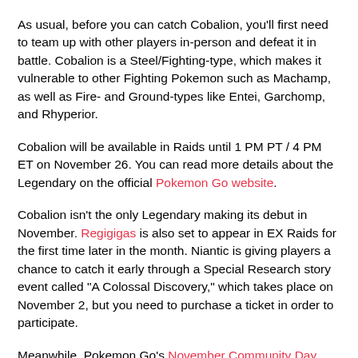As usual, before you can catch Cobalion, you'll first need to team up with other players in-person and defeat it in battle. Cobalion is a Steel/Fighting-type, which makes it vulnerable to other Fighting Pokemon such as Machamp, as well as Fire- and Ground-types like Entei, Garchomp, and Rhyperior.
Cobalion will be available in Raids until 1 PM PT / 4 PM ET on November 26. You can read more details about the Legendary on the official Pokemon Go website.
Cobalion isn't the only Legendary making its debut in November. Regigigas is also set to appear in EX Raids for the first time later in the month. Niantic is giving players a chance to catch it early through a Special Research story event called "A Colossal Discovery," which takes place on November 2, but you need to purchase a ticket in order to participate.
Meanwhile, Pokemon Go's November Community Day takes place on November 16--the day after Sword and Shield launch for Nintendo Switch. The featured Pokemon this month will be Chimchar, the Fire-type starter from the series' Gen 4 entries.